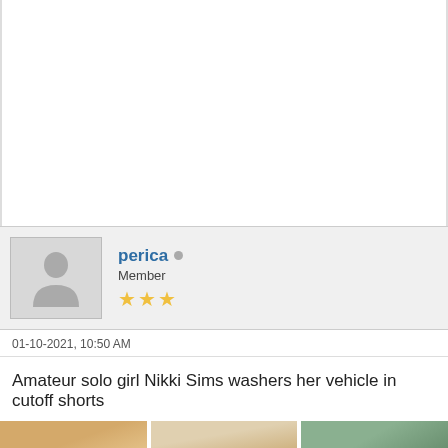[Figure (other): White blank space at top of page (above forum post)]
perica  Member ★★★
01-10-2021, 10:50 AM
Amateur solo girl Nikki Sims washers her vehicle in cutoff shorts
[Figure (photo): Three cropped photos of a woman with long highlighted hair, partially visible]